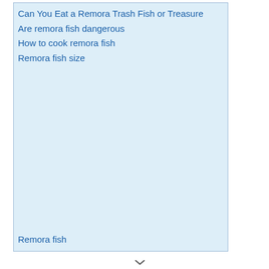Can You Eat a Remora Trash Fish or Treasure
Are remora fish dangerous
How to cook remora fish
Remora fish size
Remora fish